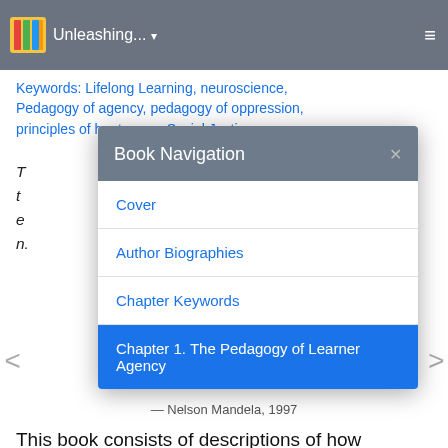Unleashing... ▾  ≡
Keywords: Lifelong Learning, neuroscience, Pedagogy of agency, pedagogy of oppression, principles of heutagogy, Social Justice
[Figure (screenshot): Book Navigation modal dialog with items: Cover, Author Biographies, Chapter Keywords, Chapter 1. The Pedagogy of Learner Agency (highlighted in blue)]
— Nelson Mandela, 1997
This book consists of descriptions of how educators from across the world have sought to